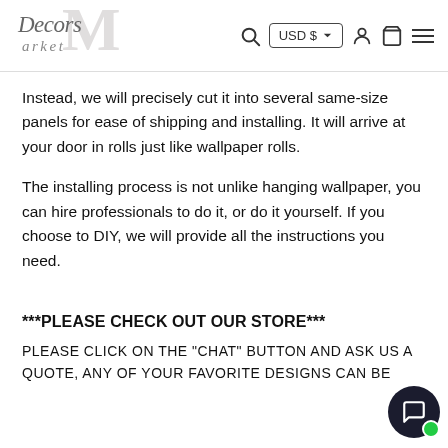Decors Market — USD $ navigation header
Instead, we will precisely cut it into several same-size panels for ease of shipping and installing. It will arrive at your door in rolls just like wallpaper rolls.
The installing process is not unlike hanging wallpaper, you can hire professionals to do it, or do it yourself. If you choose to DIY, we will provide all the instructions you need.
***PLEASE CHECK OUT OUR STORE***
PLEASE CLICK ON THE "CHAT" BUTTON AND ASK US A QUOTE, ANY OF YOUR FAVORITE DESIGNS CAN BE